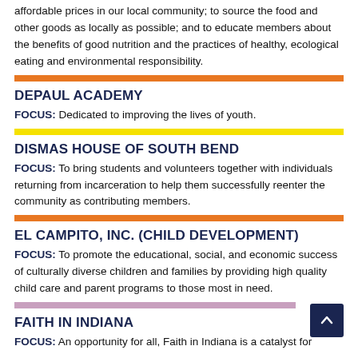affordable prices in our local community; to source the food and other goods as locally as possible; and to educate members about the benefits of good nutrition and the practices of healthy, ecological eating and environmental responsibility.
DEPAUL ACADEMY
FOCUS: Dedicated to improving the lives of youth.
DISMAS HOUSE OF SOUTH BEND
FOCUS: To bring students and volunteers together with individuals returning from incarceration to help them successfully reenter the community as contributing members.
EL CAMPITO, INC. (CHILD DEVELOPMENT)
FOCUS: To promote the educational, social, and economic success of culturally diverse children and families by providing high quality child care and parent programs to those most in need.
FAITH IN INDIANA
FOCUS: An opportunity for all, Faith in Indiana is a catalyst for